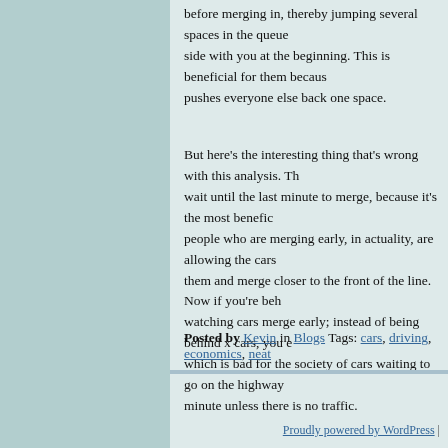before merging in, thereby jumping several spaces in the queue side with you at the beginning. This is beneficial for them because pushes everyone else back one space.
But here's the interesting thing that's wrong with this analysis. Th wait until the last minute to merge, because it's the most benefic people who are merging early, in actuality, are allowing the cars them and merge closer to the front of the line. Now if you're beh watching cars merge early; instead of being behind x cars, you e which is bad for the society of cars waiting to go on the highway minute unless there is no traffic.
Posted by Kevin in Blogs Tags: cars, driving, economics, neat
Proudly powered by WordPress |